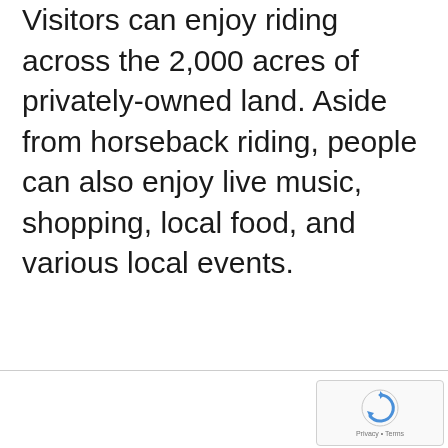Visitors can enjoy riding across the 2,000 acres of privately-owned land. Aside from horseback riding, people can also enjoy live music, shopping, local food, and various local events.
[Figure (other): reCAPTCHA widget with logo and Privacy + Terms label]